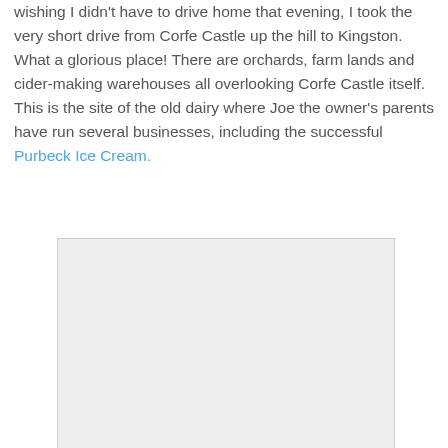wishing I didn't have to drive home that evening, I took the very short drive from Corfe Castle up the hill to Kingston. What a glorious place! There are orchards, farm lands and cider-making warehouses all overlooking Corfe Castle itself. This is the site of the old dairy where Joe the owner's parents have run several businesses, including the successful Purbeck Ice Cream.
[Figure (photo): A light gray rectangular placeholder image, likely a photo that has not loaded or is blank.]